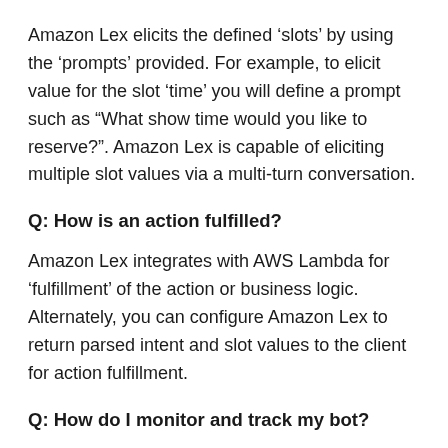Amazon Lex elicits the defined ‘slots’ by using the ‘prompts’ provided. For example, to elicit value for the slot ‘time’ you will define a prompt such as “What show time would you like to reserve?”. Amazon Lex is capable of eliciting multiple slot values via a multi-turn conversation.
Q: How is an action fulfilled?
Amazon Lex integrates with AWS Lambda for ‘fulfillment’ of the action or business logic. Alternately, you can configure Amazon Lex to return parsed intent and slot values to the client for action fulfillment.
Q: How do I monitor and track my bot?
You can track metrics for your bot on the ‘Monitoring’ dashboard in the Amazon Lex Console. Currently, you can track the number of missed utterances and...